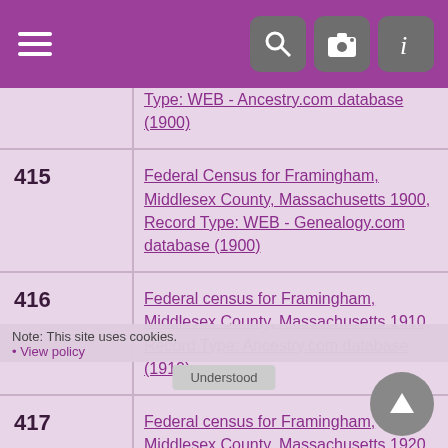Menu | Search | Camera | Info
| # | Source |
| --- | --- |
|  | Type: WEB - Ancestry.com database (1900) |
| 415 | Federal Census for Framingham, Middlesex County, Massachusetts 1900, Record Type: WEB - Genealogy.com database (1900) |
| 416 | Federal census for Framingham, Middlesex County, Massachusetts 1910, Record Type: Ancestry.com database (1910) |
| 417 | Federal census for Framingham, Middlesex County, Massachusetts 1920, Record Type: Ancestry.com database (1920) |
| 418 | Federal census for Framingham, Middlesex County, Massachusetts 1930, Record Type: Ancestry.com database (1930) |
Note: This site uses cookies.
View policy
Understood